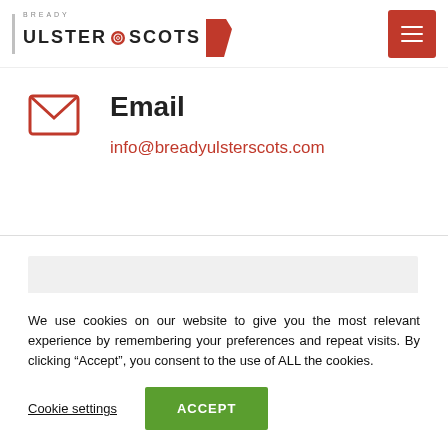Bready Ulster Scots
Email
info@breadyulsterscots.com
[Figure (other): Gray placeholder rectangle]
We use cookies on our website to give you the most relevant experience by remembering your preferences and repeat visits. By clicking “Accept”, you consent to the use of ALL the cookies.
Cookie settings   ACCEPT